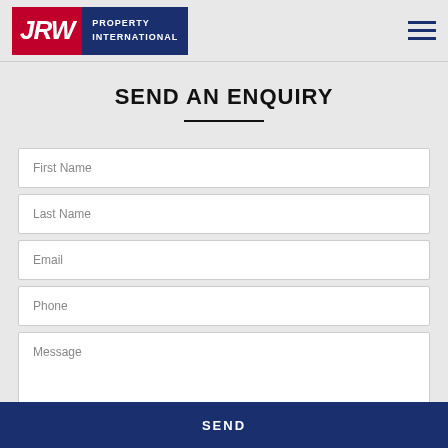[Figure (logo): JRW Property International logo — red box with white italic JRW text, navy box with white PROPERTY INTERNATIONAL text]
SEND AN ENQUIRY
First Name
Last Name
Email
Phone
Message
SEND